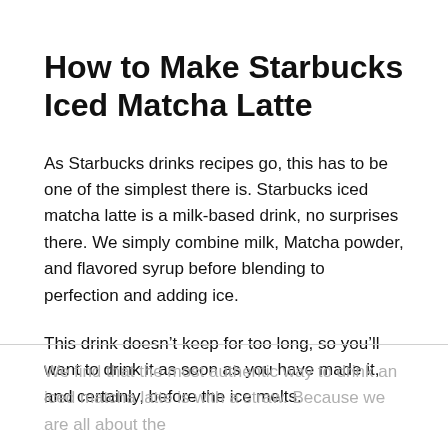How to Make Starbucks Iced Matcha Latte
As Starbucks drinks recipes go, this has to be one of the simplest there is. Starbucks iced matcha latte is a milk-based drink, no surprises there. We simply combine milk, Matcha powder, and flavored syrup before blending to perfection and adding ice.
This drink doesn’t keep for too long, so you’ll want to drink it as soon as you have made it, and certainly, before the ice melts.
We find that the most authentic way to drink an iced matcha latte is with a straw. Because we are all about the